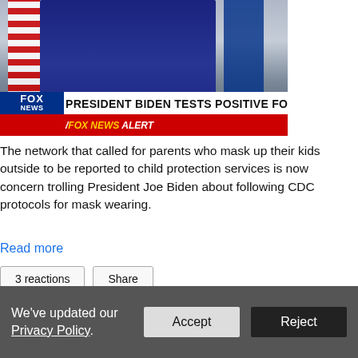[Figure (screenshot): Fox News screenshot showing President Biden at a podium with American flags. Chyron reads: PRESIDENT BIDEN TESTS POSITIVE FOR COVID AGAIN. Fox News Alert banner in red below.]
The network that called for parents who mask up their kids outside to be reported to child protection services is now concern trolling President Joe Biden about following CDC protocols for mask wearing.
Read more
3 reactions   Share
← Previous 1 2 3 4 5 6 7 8 9 ... 1227 1228 Next →
We've updated our Privacy Policy.   Accept   Reject